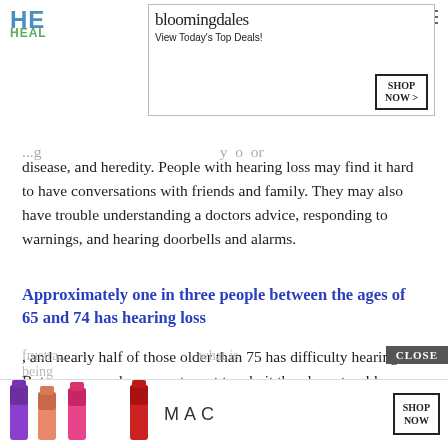HE... HEAL...
[Figure (other): Bloomingdale's advertisement banner: 'View Today's Top Deals!' with SHOP NOW button and woman in hat]
disease, and heredity. People with hearing loss may find it hard to have conversations with friends and family. They may also have trouble understanding a doctors advice, responding to warnings, and hearing doorbells and alarms.
Approximately one in three people between the ages of 65 and 74 has hearing loss
, and nearly half of those older than 75 has difficulty hearing. But, some people may not want to admit they have trouble hearing.
Older people who cant hear well may become depressed, or they may withdraw from others because the...
frustra... what is being...
[Figure (other): MAC Cosmetics advertisement banner with lipsticks and SHOP NOW button, CLOSE button visible]